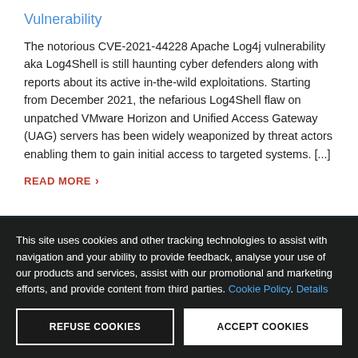Vulnerability
The notorious CVE-2021-44228 Apache Log4j vulnerability aka Log4Shell is still haunting cyber defenders along with reports about its active in-the-wild exploitations. Starting from December 2021, the nefarious Log4Shell flaw on unpatched VMware Horizon and Unified Access Gateway (UAG) servers has been widely weaponized by threat actors enabling them to gain initial access to targeted systems. [...]
READ MORE ›
This site uses cookies and other tracking technologies to assist with navigation and your ability to provide feedback, analyse your use of our products and services, assist with our promotional and marketing efforts, and provide content from third parties. Cookie Policy. Details
REFUSE COOKIES
ACCEPT COOKIES